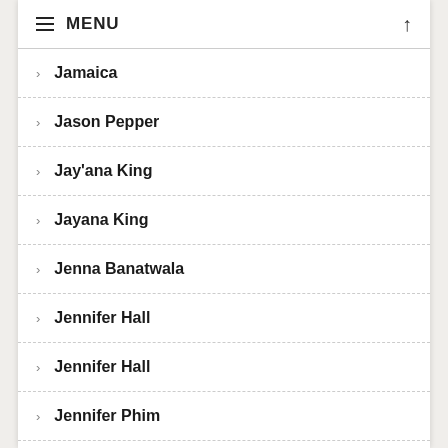≡ MENU
Jamaica
Jason Pepper
Jay'ana King
Jayana King
Jenna Banatwala
Jennifer Hall
Jennifer Hall
Jennifer Phim
Jesse Allen
Jessica Benmen
Ji Pan